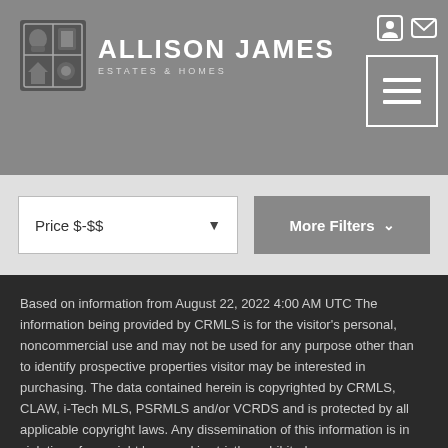[Figure (logo): Allison James Estates & Homes logo with heraldic shield icon and white text]
Price $-$$
More Filters
Based on information from August 22, 2022 4:00 AM UTC The information being provided by CRMLS is for the visitor's personal, noncommercial use and may not be used for any purpose other than to identify prospective properties visitor may be interested in purchasing. The data contained herein is copyrighted by CRMLS, CLAW, i-Tech MLS, PSRMLS and/or VCRDS and is protected by all applicable copyright laws. Any dissemination of this information is in violation of copyright laws and is strictly prohibited.